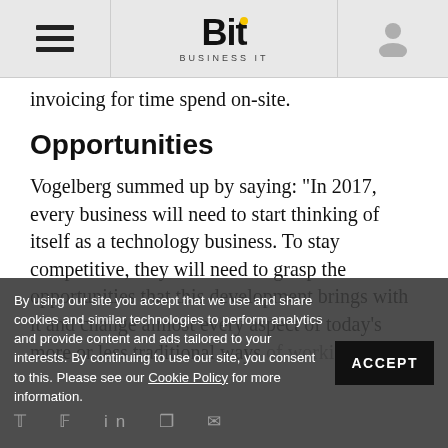Bit Business IT
invoicing for time spend on-site.
Opportunities
Vogelberg summed up by saying: "In 2017, every business will need to start thinking of itself as a technology business. To stay competitive, they will need to grasp the opportunities that this development brings with it and change almost every aspect of today's more or less traditional ways of working
By using our site you accept that we use and share cookies and similar technologies to perform analytics and provide content and ads tailored to your interests. By continuing to use our site, you consent to this. Please see our Cookie Policy for more information.